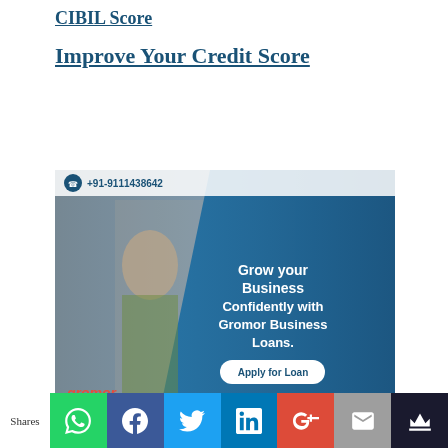CIBIL Score
Improve Your Credit Score
[Figure (photo): Gromor Business Loans advertisement featuring a woman in a saree with text 'Grow your Business Confidently with Gromor Business Loans.' and an 'Apply for Loan' button. Phone number +91-9111438642 at top.]
Shares [WhatsApp] [Facebook] [Twitter] [LinkedIn] [Google+] [Email] [Crown]